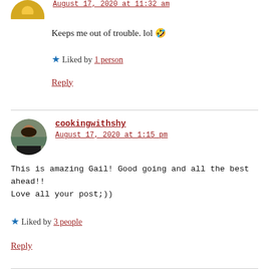[Figure (photo): Small circular avatar of a person in yellow/orange top, partially cropped at top]
August 17, 2020 at 11:32 am
Keeps me out of trouble. lol 🤣
★ Liked by 1 person
Reply
[Figure (photo): Small circular avatar of a woman with dark hair in a kitchen setting]
cookingwithshy
August 17, 2020 at 1:15 pm
This is amazing Gail! Good going and all the best ahead!! Love all your post;))
★ Liked by 3 people
Reply